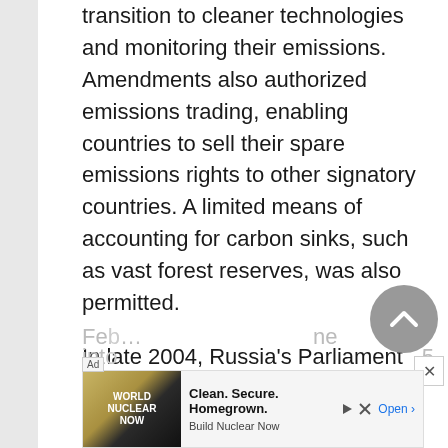transition to cleaner technologies and monitoring their emissions. Amendments also authorized emissions trading, enabling countries to sell their spare emissions rights to other signatory countries. A limited means of accounting for carbon sinks, such as vast forest reserves, was also permitted.

In late 2004, Russia's Parliament agreed to ratify Kyoto, and on February ... into ... 5